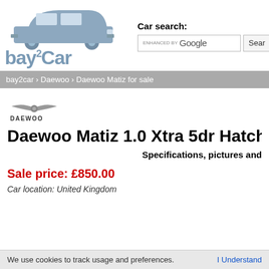[Figure (logo): bay2Car website logo with car silhouette illustration and text 'bay2Car']
Car search:
[Figure (screenshot): Google search box with 'ENHANCED BY Google' text and Search button]
bay2car › Daewoo › Daewoo Matiz for sale
[Figure (logo): Daewoo brand logo - stylized wing emblem with DAEWOO text]
Daewoo Matiz 1.0 Xtra 5dr Hatchback P
Specifications, pictures and
Sale price: £850.00
Car location: United Kingdom
We use cookies to track usage and preferences.   I Understand